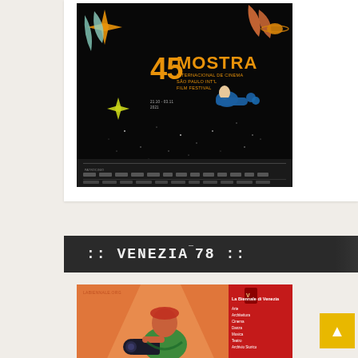[Figure (illustration): 45 Mostra Internacional de Cinema São Paulo Int'l Film Festival poster on dark/black background with colorful illustrated stars, celestial objects, and a reclining figure. Sponsors logos shown at bottom.]
:: VENEZIA¯78 ::
[Figure (illustration): Venice Film Festival (Venezia 78) official poster showing colorful illustrated figure with camera on orange background. La Biennale di Venezia branding shown with red discipline list panel on right.]